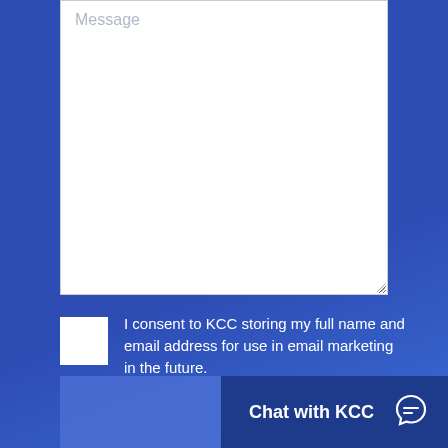[Figure (screenshot): A message textarea input field with placeholder text 'Message' on a white background, with a resize handle at the bottom-right corner.]
I consent to KCC storing my full name and email address for use in email marketing in the future.
[Figure (screenshot): A 'Chat with KCC' button in dark navy blue with a white chat bubble icon on the right, and a lighter blue area to the left.]